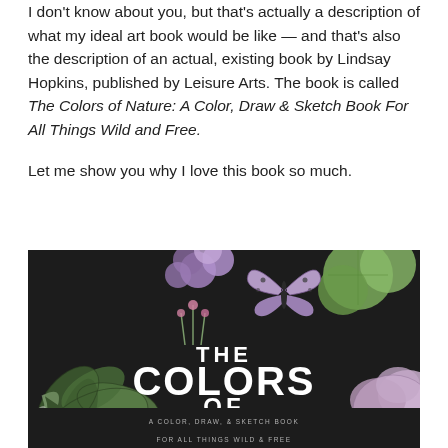I don't know about you, but that's actually a description of what my ideal art book would be like — and that's also the description of an actual, existing book by Lindsay Hopkins, published by Leisure Arts. The book is called The Colors of Nature: A Color, Draw & Sketch Book For All Things Wild and Free.
Let me show you why I love this book so much.
[Figure (photo): Book cover of 'The Colors of Nature: A Color, Draw & Sketch Book For All Things Wild and Free' by Lindsay Hopkins. Dark/black background with illustrated succulents (green), purple flowers, a purple butterfly, and other botanical elements. Large white bold text reads 'THE COLORS OF NATURE' with subtitle 'A COLOR, DRAW, & SKETCH BOOK FOR ALL THINGS WILD & FREE'.]